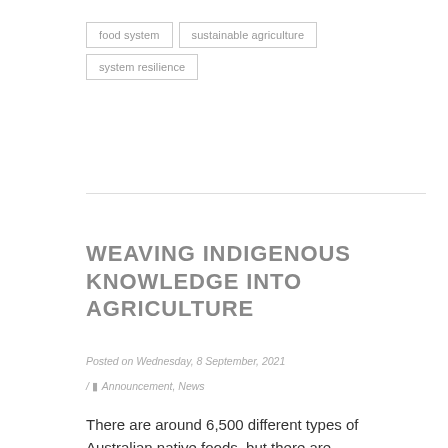food system
sustainable agriculture
system resilience
WEAVING INDIGENOUS KNOWLEDGE INTO AGRICULTURE
Posted on Wednesday, 8 September, 2021
/ Announcement, News
There are around 6,500 different types of Australian native foods, but there are